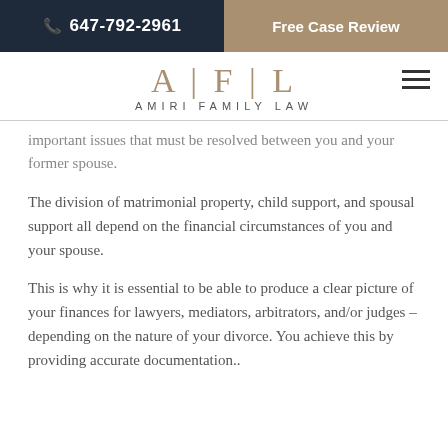647-792-2961 | Free Case Review
[Figure (logo): AFL - Amiri Family Law logo with vertical bars between letters and firm name below]
important issues that must be resolved between you and your former spouse.
The division of matrimonial property, child support, and spousal support all depend on the financial circumstances of you and your spouse.
This is why it is essential to be able to produce a clear picture of your finances for lawyers, mediators, arbitrators, and/or judges – depending on the nature of your divorce. You achieve this by providing accurate documentation..